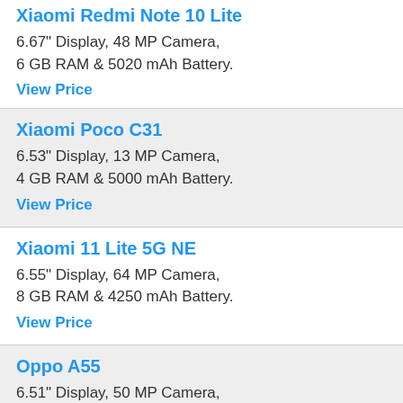Xiaomi Redmi Note 10 Lite
6.67" Display, 48 MP Camera, 6 GB RAM & 5020 mAh Battery.
View Price
Xiaomi Poco C31
6.53" Display, 13 MP Camera, 4 GB RAM & 5000 mAh Battery.
View Price
Xiaomi 11 Lite 5G NE
6.55" Display, 64 MP Camera, 8 GB RAM & 4250 mAh Battery.
View Price
Oppo A55
6.51" Display, 50 MP Camera, 6 GB RAM & 5000 mAh Battery.
View Price